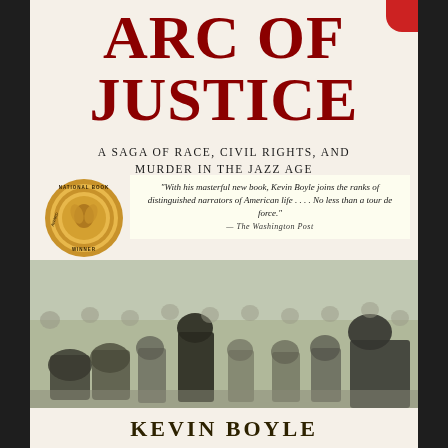ARC OF JUSTICE
A Saga of Race, Civil Rights, and Murder in the Jazz Age
[Figure (illustration): National Book Award Winner gold medallion seal on the left side of the cover]
"With his masterful new book, Kevin Boyle joins the ranks of distinguished narrators of American life . . . . No less than a tour de force." —The Washington Post
[Figure (photo): Black and white historical photograph of a crowded courtroom scene with people in suits]
KEVIN BOYLE